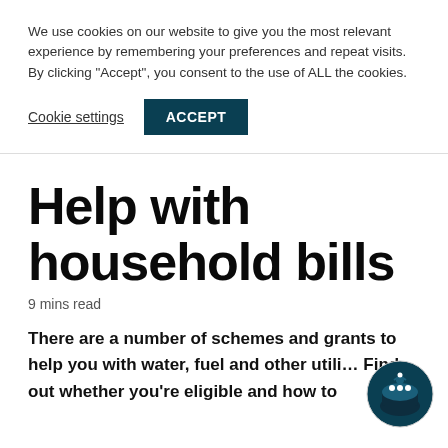We use cookies on our website to give you the most relevant experience by remembering your preferences and repeat visits. By clicking “Accept”, you consent to the use of ALL the cookies.
Cookie settings
ACCEPT
Help with household bills
9 mins read
There are a number of schemes and grants to help you with water, fuel and other utili… Find out whether you're eligible and how to